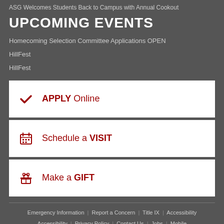ASG Welcomes Students Back to Campus with Annual Cookout
UPCOMING EVENTS
Homecoming Selection Committee Applications OPEN
HillFest
HillFest
✔ APPLY Online
📅 Schedule a VISIT
🎁 Make a GIFT
Emergency Information | Report a Concern | Title IX | Accessibility | Privacy Policy | Contact Us | Jobs | Mobile
Copyright of University of Arkansas